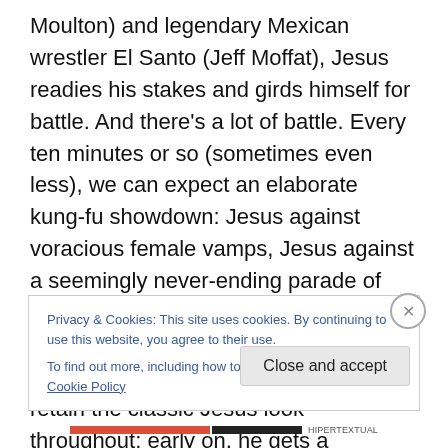Moulton) and legendary Mexican wrestler El Santo (Jeff Moffat), Jesus readies his stakes and girds himself for battle. And there's a lot of battle. Every ten minutes or so (sometimes even less), we can expect an elaborate kung-fu showdown: Jesus against voracious female vamps, Jesus against a seemingly never-ending parade of atheists, Jesus against a bunch of vampires hanging out in a bar. I was slightly disappointed that Jesus doesn't retain the classic Jesus look throughout; early on, he gets a makeover — a haircut, shave, ear piercings, sleek new clothes — partly to blend in better, but also, I think,
Privacy & Cookies: This site uses cookies. By continuing to use this website, you agree to their use.
To find out more, including how to control cookies, see here: Cookie Policy
Close and accept